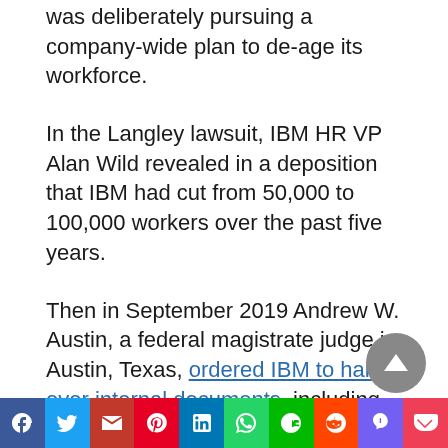was deliberately pursuing a company-wide plan to de-age its workforce.
In the Langley lawsuit, IBM HR VP Alan Wild revealed in a deposition that IBM had cut from 50,000 to 100,000 workers over the past five years.
Then in September 2019 Andrew W. Austin, a federal magistrate judge in Austin, Texas, ordered IBM to hand over internal documents, including memos and communications from then CEO Ginni Rometty, in relation to the lawsuit.
Social share bar: Facebook, Twitter, Mail, Pinterest, LinkedIn, WhatsApp, Line, Reddit, Viber, Pocket